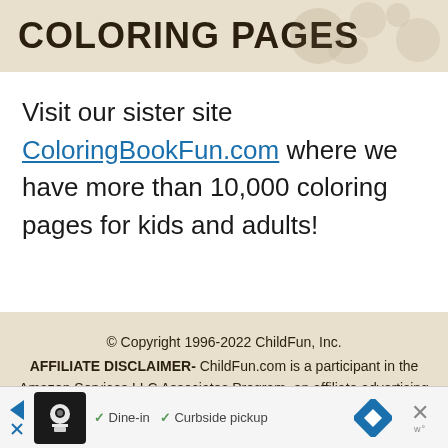COLORING PAGES
Visit our sister site ColoringBookFun.com where we have more than 10,000 coloring pages for kids and adults!
© Copyright 1996-2022 ChildFun, Inc. AFFILIATE DISCLAIMER- ChildFun.com is a participant in the Amazon Services LLC Associates Program, an affiliate advertising program designed to provide a means for sites to earn
[Figure (other): Advertisement bar at bottom with restaurant icon, checkmarks for Dine-in and Curbside pickup options, navigation arrow icon, and close button]